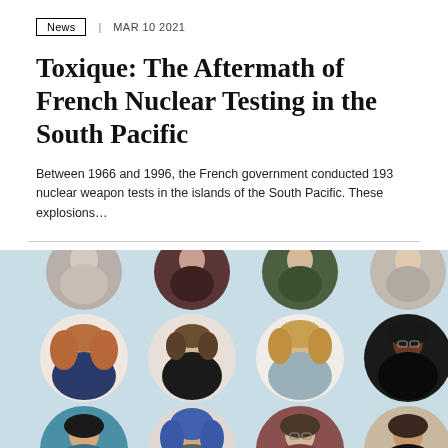News  |  MAR 10 2021
Toxique: The Aftermath of French Nuclear Testing in the South Pacific
Between 1966 and 1996, the French government conducted 193 nuclear weapon tests in the islands of the South Pacific. These explosions…
[Figure (photo): Grid of circular portrait photos of women, arranged in three rows of four, on a light blue background. Top row is partially cropped at the top.]